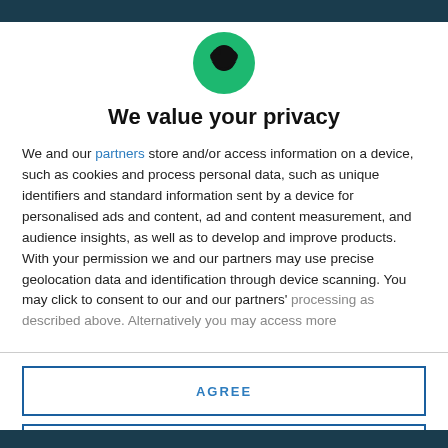[Figure (logo): Round green circle with a black silhouette of a figure wearing a hat (Twitterati/bird-like logo)]
We value your privacy
We and our partners store and/or access information on a device, such as cookies and process personal data, such as unique identifiers and standard information sent by a device for personalised ads and content, ad and content measurement, and audience insights, as well as to develop and improve products. With your permission we and our partners may use precise geolocation data and identification through device scanning. You may click to consent to our and our partners' processing as described above. Alternatively you may access more
AGREE
MORE OPTIONS